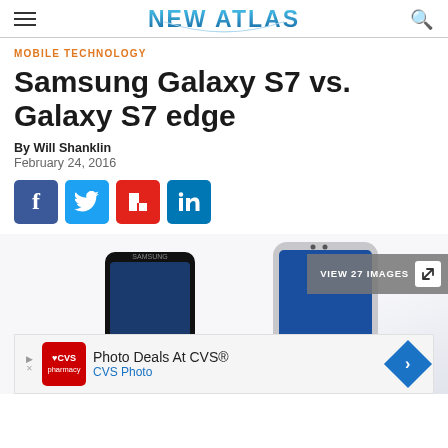NEW ATLAS
MOBILE TECHNOLOGY
Samsung Galaxy S7 vs. Galaxy S7 edge
By Will Shanklin
February 24, 2016
[Figure (infographic): Social share buttons: Facebook, Twitter, Flipboard, LinkedIn]
[Figure (photo): Two Samsung Galaxy S7 smartphones side by side, with a 'VIEW 27 IMAGES' button overlay and a CVS Photo ad banner at the bottom]